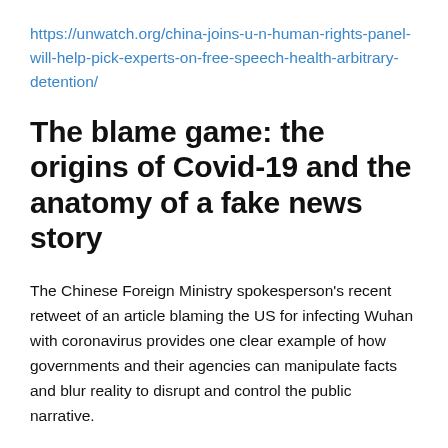https://unwatch.org/china-joins-u-n-human-rights-panel-will-help-pick-experts-on-free-speech-health-arbitrary-detention/
The blame game: the origins of Covid-19 and the anatomy of a fake news story
The Chinese Foreign Ministry spokesperson's recent retweet of an article blaming the US for infecting Wuhan with coronavirus provides one clear example of how governments and their agencies can manipulate facts and blur reality to disrupt and control the public narrative.